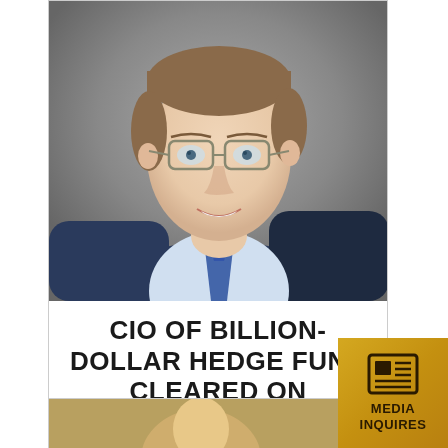[Figure (photo): Professional headshot of a man wearing glasses, a blue suit, white dress shirt, and striped tie, smiling, against a gray background]
CIO OF BILLION-DOLLAR HEDGE FUND CLEARED ON CHARGES
[Figure (photo): Partial view of a second article with a photo, partially visible at the bottom of the page]
[Figure (other): Gold media inquires badge with newspaper icon and text MEDIA INQUIRES]